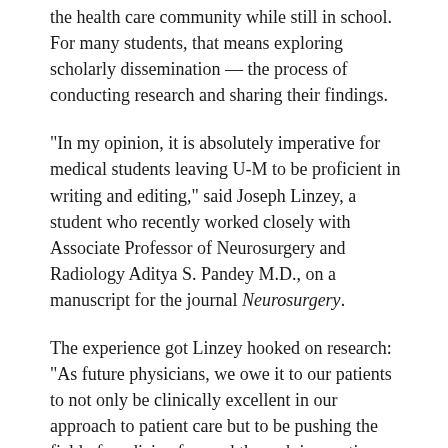the health care community while still in school. For many students, that means exploring scholarly dissemination — the process of conducting research and sharing their findings.
“In my opinion, it is absolutely imperative for medical students leaving U-M to be proficient in writing and editing,” said Joseph Linzey, a student who recently worked closely with Associate Professor of Neurosurgery and Radiology Aditya S. Pandey M.D., on a manuscript for the journal Neurosurgery.
The experience got Linzey hooked on research: “As future physicians, we owe it to our patients to not only be clinically excellent in our approach to patient care but to be pushing the field of medicine forward through innovative and scientifically-sound research,” Linzey said.
Students leading the way
Linzey is one of the 2017-18 editors-in-chief of the Michigan